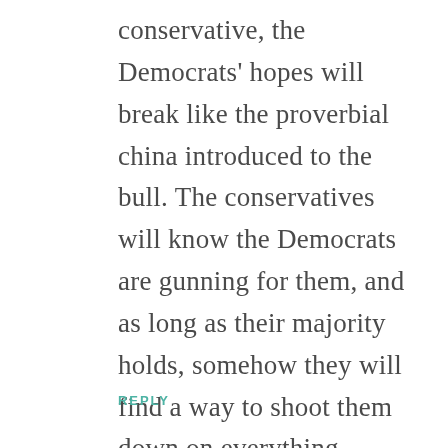conservative, the Democrats' hopes will break like the proverbial china introduced to the bull. The conservatives will know the Democrats are gunning for them, and as long as their majority holds, somehow they will find a way to shoot them down on everything.
REPLY